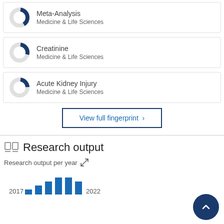[Figure (donut-chart): Partial donut chart for Meta-Analysis, Medicine & Life Sciences]
Meta-Analysis
Medicine & Life Sciences
[Figure (donut-chart): Partial donut chart for Creatinine, Medicine & Life Sciences]
Creatinine
Medicine & Life Sciences
[Figure (donut-chart): Partial donut chart for Acute Kidney Injury, Medicine & Life Sciences]
Acute Kidney Injury
Medicine & Life Sciences
View full fingerprint >
Research output
Research output per year
[Figure (bar-chart): Research output per year]